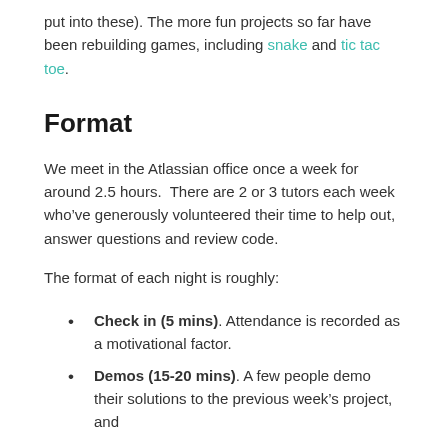put into these). The more fun projects so far have been rebuilding games, including snake and tic tac toe.
Format
We meet in the Atlassian office once a week for around 2.5 hours.  There are 2 or 3 tutors each week who've generously volunteered their time to help out, answer questions and review code.
The format of each night is roughly:
Check in (5 mins). Attendance is recorded as a motivational factor.
Demos (15-20 mins). A few people demo their solutions to the previous week's project, and